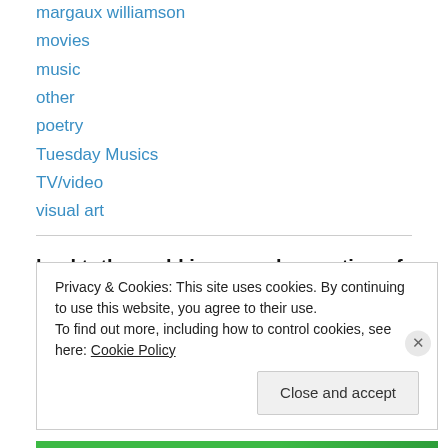margaux williamson
movies
music
other
poetry
Tuesday Musics
TV/video
visual art
backtotheworld is a conglomeration of these 3 blogs:
Privacy & Cookies: This site uses cookies. By continuing to use this website, you agree to their use.
To find out more, including how to control cookies, see here: Cookie Policy